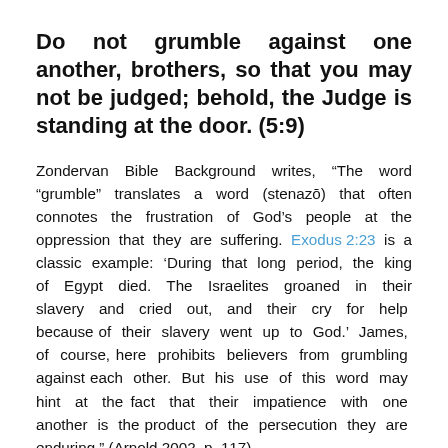Do not grumble against one another, brothers, so that you may not be judged; behold, the Judge is standing at the door. (5:9)
Zondervan Bible Background writes, “The word “grumble” translates a word (stenazō) that often connotes the frustration of God’s people at the oppression that they are suffering. Exodus 2:23 is a classic example: ‘During that long period, the king of Egypt died. The Israelites groaned in their slavery and cried out, and their cry for help because of their slavery went up to God.’ James, of course, here prohibits believers from grumbling against each other. But his use of this word may hint at the fact that their impatience with one another is the product of the persecution they are enduring.” (Arnold 2002, p. 117)